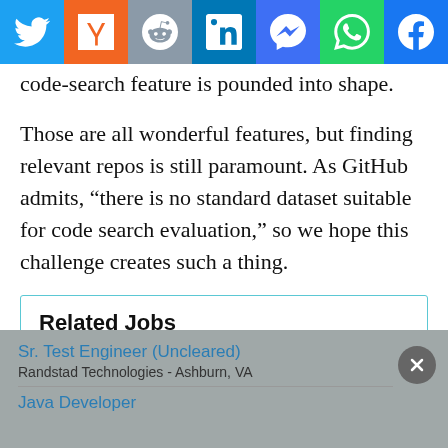[Figure (other): Social sharing bar with icons for Twitter, Hacker News (Y), Reddit, LinkedIn, Facebook Messenger, WhatsApp, and Facebook]
code-search feature is pounded into shape.
Those are all wonderful features, but finding relevant repos is still paramount. As GitHub admits, “there is no standard dataset suitable for code search evaluation,” so we hope this challenge creates such a thing.
Related Jobs
Senior Software Quality Assurance Engineer and Tester
CACI International, Inc. - Ashburn, VA
Sr. Test Engineer (Uncleared)
Randstad Technologies - Ashburn, VA
Java Developer